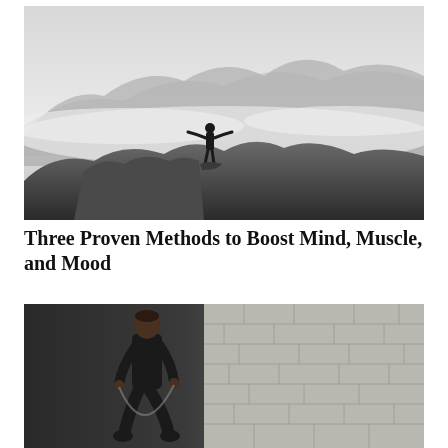[Figure (photo): Black and white photograph of a person standing on a rocky mountain summit with arms outstretched, surrounded by misty clouds and mountain peaks in the background.]
Three Proven Methods to Boost Mind, Muscle, and Mood
[Figure (photo): A person in black athletic wear appears to be jump-roping or running against a light-colored brick wall background, photographed in a dramatic studio-style lighting.]